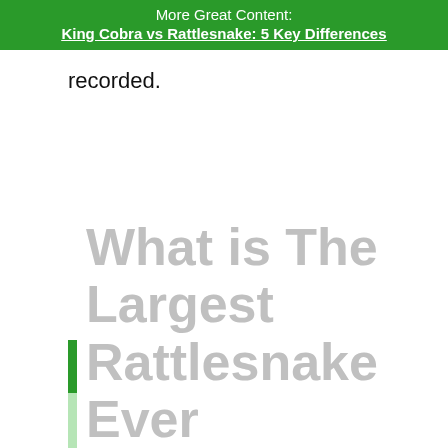More Great Content:
King Cobra vs Rattlesnake: 5 Key Differences
recorded.
What is The Largest Rattlesnake Ever